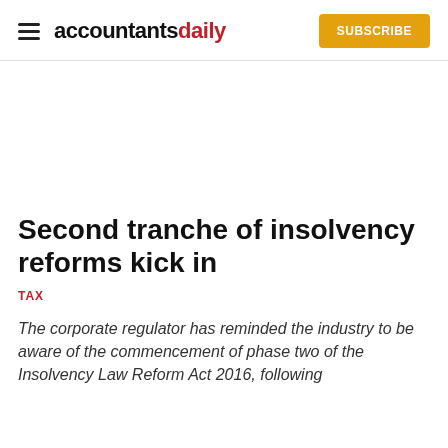accountantsdaily | SUBSCRIBE
Second tranche of insolvency reforms kick in
TAX
The corporate regulator has reminded the industry to be aware of the commencement of phase two of the Insolvency Law Reform Act 2016, following